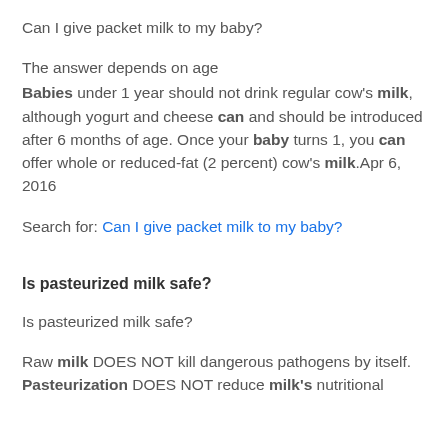Can I give packet milk to my baby?
The answer depends on age
Babies under 1 year should not drink regular cow's milk, although yogurt and cheese can and should be introduced after 6 months of age. Once your baby turns 1, you can offer whole or reduced-fat (2 percent) cow's milk.Apr 6, 2016
Search for: Can I give packet milk to my baby?
Is pasteurized milk safe?
Is pasteurized milk safe?
Raw milk DOES NOT kill dangerous pathogens by itself. Pasteurization DOES NOT reduce milk's nutritional